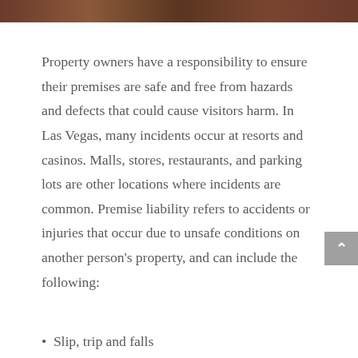[Figure (photo): Partial photo strip visible at top of page, showing what appears to be people or a crowd scene in warm/brown tones]
Property owners have a responsibility to ensure their premises are safe and free from hazards and defects that could cause visitors harm. In Las Vegas, many incidents occur at resorts and casinos. Malls, stores, restaurants, and parking lots are other locations where incidents are common. Premise liability refers to accidents or injuries that occur due to unsafe conditions on another person's property, and can include the following:
Slip, trip and falls